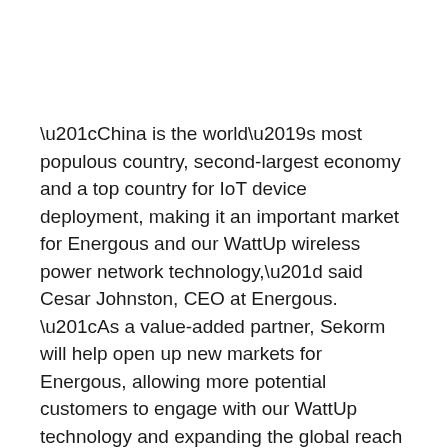“China is the world’s most populous country, second-largest economy and a top country for IoT device deployment, making it an important market for Energous and our WattUp wireless power network technology,” said Cesar Johnston, CEO at Energous. “As a value-added partner, Sekorm will help open up new markets for Energous, allowing more potential customers to engage with our WattUp technology and expanding the global reach of IoT wireless power networks.”
IDC predicts that, by 2024, China will surpass the U.S. to become the largest IoT market in the world, spending over $300 billion annually on IoT and accounting for over 25% of all global spend on the sector. IDC also projects the global